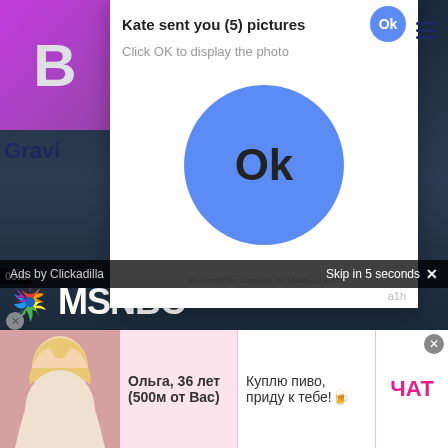[Figure (screenshot): Partial purple/pink app icon with letter B visible on left side]
Kate sent you (5) pictures
Click OK to display the photo
[Figure (screenshot): Large blue circular OK button in white popup dialog]
a1h
Gravi
00:0
Ads by Clickadilla
Skip in 5 seconds ✕
[Figure (screenshot): MSNBC TV broadcast showing man in suit with MSNBC logo overlay]
Ольга, 36 лет (500м от Вас)
Куплю пиво, приду к тебе!🍺
ЧАТ